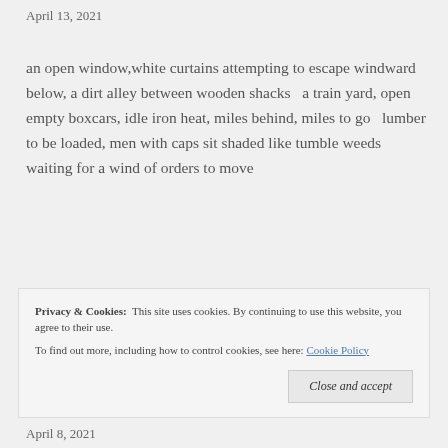April 13, 2021
an open window,white curtains attempting to escape windward below, a dirt alley between wooden shacks   a train yard, open empty boxcars, idle iron heat, miles behind, miles to go   lumber to be loaded, men with caps sit shaded like tumble weeds waiting for a wind of orders to move
Privacy & Cookies:  This site uses cookies. By continuing to use this website, you agree to their use.
To find out more, including how to control cookies, see here: Cookie Policy
Close and accept
April 8, 2021